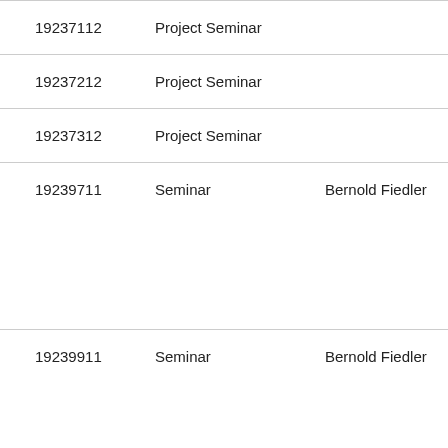| ID | Type | Instructor | Title |
| --- | --- | --- | --- |
| 19237112 | Project Seminar |  | Research P… |
| 19237212 | Project Seminar |  | Research P… |
| 19237312 | Project Seminar |  | Research P… |
| 19239711 | Seminar | Bernold Fiedler | Seminar: A… delay equa… |
| 19239911 | Seminar | Bernold Fiedler | Seminar: … |